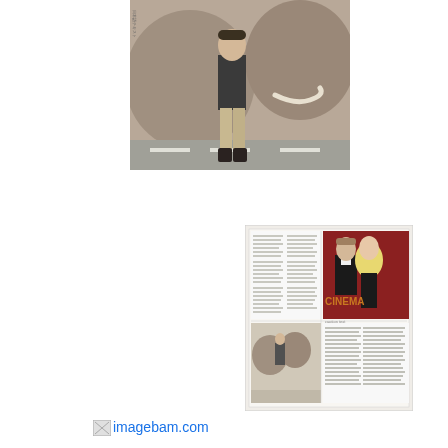[Figure (photo): A person standing next to a large elephant on a street or pavement. The person is wearing a dark t-shirt and khaki pants with dark boots. The elephant's large gray body and tusk are visible.]
[Figure (photo): A magazine or newspaper page spread showing multiple photos and Japanese text columns. Includes a photo of a couple dressed formally (man in tuxedo, blonde woman), and a smaller photo of a person with an elephant.]
imagebam.com